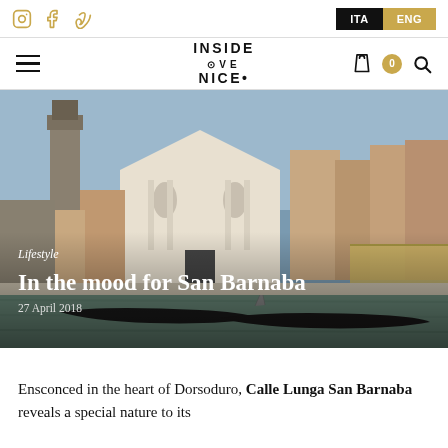Instagram | Facebook | Vimeo — ITA | ENG
INSIDE VENICE — hamburger menu, cart, search
[Figure (photo): Venice canal scene with church facade (San Barnaba), gondolas in the foreground, and colourful buildings along the waterfront.]
Lifestyle
In the mood for San Barnaba
27 April 2018
Ensconced in the heart of Dorsoduro, Calle Lunga San Barnaba reveals a special nature to its